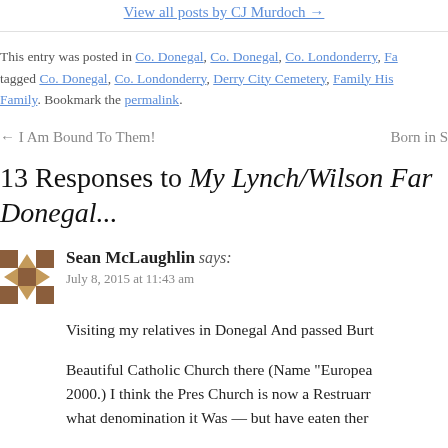View all posts by CJ Murdoch →
This entry was posted in Co. Donegal, Co. Donegal, Co. Londonderry, Fa tagged Co. Donegal, Co. Londonderry, Derry City Cemetery, Family His Family. Bookmark the permalink.
← I Am Bound To Them!     Born in S
13 Responses to My Lynch/Wilson Far Donegal...
Sean McLaughlin says: July 8, 2015 at 11:43 am
Visiting my relatives in Donegal And passed Burt
Beautiful Catholic Church there (Name "Europea 2000.) I think the Pres Church is now a Restruarr what denomination it Was — but have eaten ther